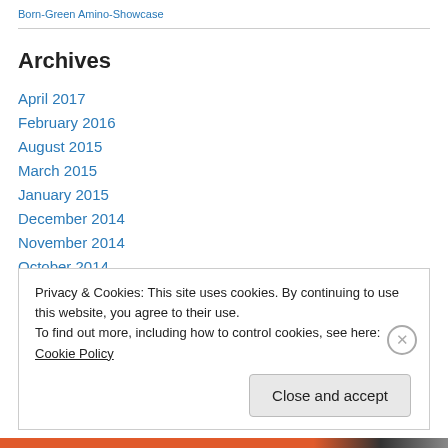Born-Green Amino-Showcase
Archives
April 2017
February 2016
August 2015
March 2015
January 2015
December 2014
November 2014
October 2014
September 2014
Privacy & Cookies: This site uses cookies. By continuing to use this website, you agree to their use. To find out more, including how to control cookies, see here: Cookie Policy
Close and accept